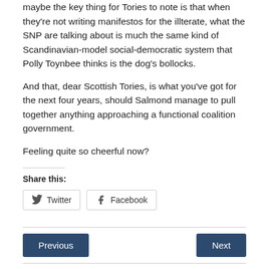maybe the key thing for Tories to note is that when they're not writing manifestos for the illiterate, what the SNP are talking about is much the same kind of Scandinavian-model social-democratic system that Polly Toynbee thinks is the dog's bollocks.
And that, dear Scottish Tories, is what you've got for the next four years, should Salmond manage to pull together anything approaching a functional coalition government.
Feeling quite so cheerful now?
Share this:
Twitter  Facebook
Previous   Next